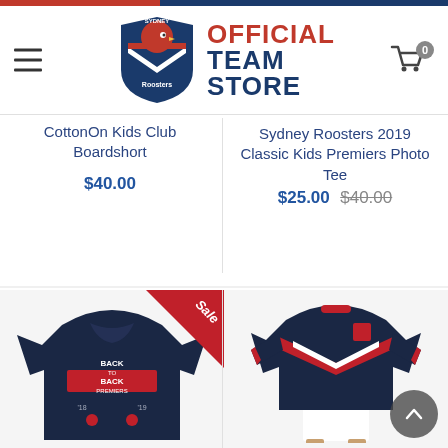[Figure (logo): Sydney Roosters Official Team Store logo with rooster mascot and bold red/navy text]
CottonOn Kids Club Boardshort
$40.00
Sydney Roosters 2019 Classic Kids Premiers Photo Tee
$25.00 $40.00
[Figure (photo): Navy blue Back to Back Premiers t-shirt with red sale badge in corner]
[Figure (photo): Sydney Roosters classic jersey uniform on display mannequin]